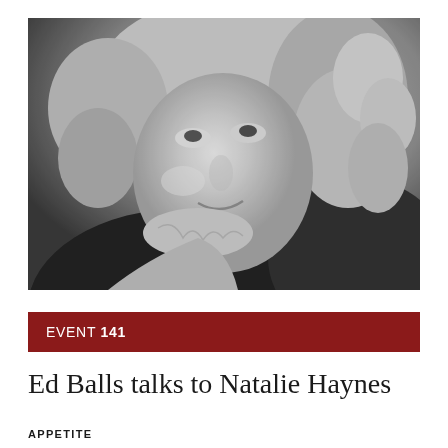[Figure (photo): Black and white close-up portrait photograph of a woman with curly hair, resting her head on her hand, looking upward, smiling slightly.]
EVENT 141
Ed Balls talks to Natalie Haynes
APPETITE